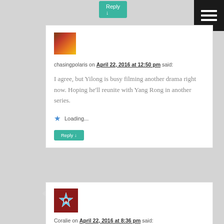Reply ↓
[Figure (illustration): Hamburger menu icon, three white horizontal bars on black background]
[Figure (photo): User avatar thumbnail with warm orange-red tones]
chasingpolaris on April 22, 2016 at 12:50 pm said:
I agree, but Yilong is busy filming another drama right now. Hoping he'll reunite with Yang Rong in another series.
Loading...
Reply ↓
[Figure (illustration): User avatar with spiky star badge shape on red background]
Coralie on April 22, 2016 at 8:36 pm said: